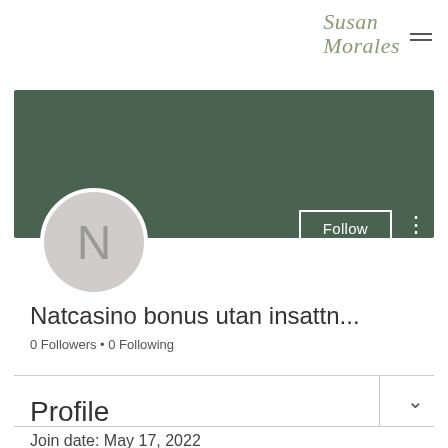Susan Morales
[Figure (screenshot): Green banner cover image for user profile]
[Figure (illustration): Circular avatar placeholder with letter N]
Follow
Natcasino bonus utan insattn...
0 Followers • 0 Following
Profile
Join date: May 17, 2022